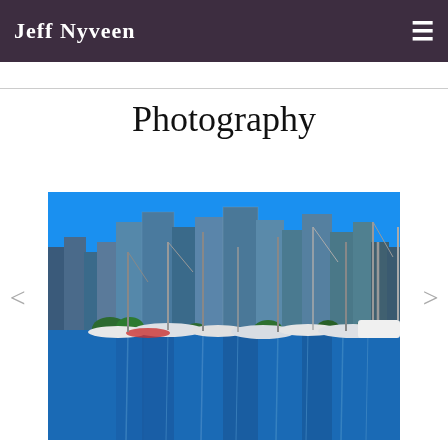Jeff Nyveen
Photography
[Figure (photo): Panoramic photo of a marina with sailboats and yachts in the foreground, city skyline with tall buildings in the background, bright blue sky and calm blue water with reflections of masts and buildings.]
< (left arrow navigation)
> (right arrow navigation)